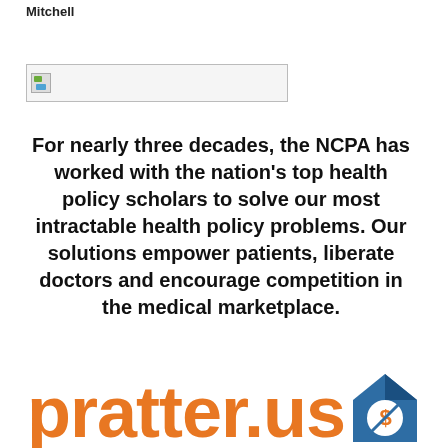Mitchell
[Figure (other): Broken/placeholder image box with small icon in top-left corner]
For nearly three decades, the NCPA has worked with the nation's top health policy scholars to solve our most intractable health policy problems. Our solutions empower patients, liberate doctors and encourage competition in the medical marketplace.
[Figure (logo): pratter.us logo with orange 'pratter.' text and blue 'us' text, with a medical/dollar sign icon]